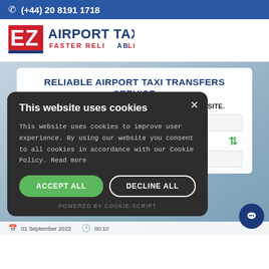☎ (+44) 20 8191 1718
[Figure (logo): EZ Airport Taxi logo — stylized red/blue EZ letters with 'AIRPORT TAXI' text and 'FASTER RELIABLE' tagline]
RELIABLE AIRPORT TAXI TRANSFERS SERVICE
BOOK AIPORT TAXI NOW ON OUR OFFICIAL WEBSITE.
This website uses cookies

This website uses cookies to improve user experience. By using our website you consent to all cookies in accordance with our Cookie Policy. Read more

ACCEPT ALL   DECLINE ALL

POWERED BY COOKIE-SCRIPT
01 September 2022   00:10